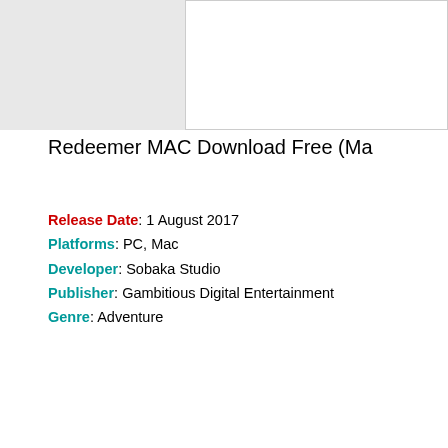[Figure (photo): Screenshot or cover image placeholder for Redeemer game, shown as a white bordered box in the upper right area of the page]
Redeemer MAC Download Free (Ma
Release Date: 1 August 2017
Platforms: PC, Mac
Developer: Sobaka Studio
Publisher: Gambitious Digital Entertainment
Genre: Adventure
If you are looking for where to download Redeemer torrent for Mac here! Our site provides you the opportunity to download this Advent... Now comes a lot of games and most of them are of poor quality. S... game Redeemer free and decide whether you are interested in this ga...
About This Game: